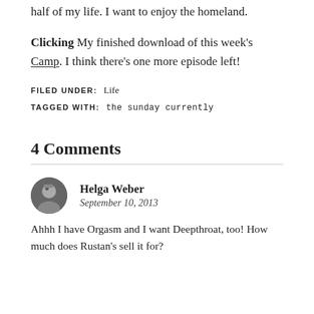half of my life. I want to enjoy the homeland.
Clicking My finished download of this week's Camp. I think there's one more episode left!
FILED UNDER: Life
TAGGED WITH: the sunday currently
4 Comments
Helga Weber
September 10, 2013
Ahhh I have Orgasm and I want Deepthroat, too! How much does Rustan's sell it for?